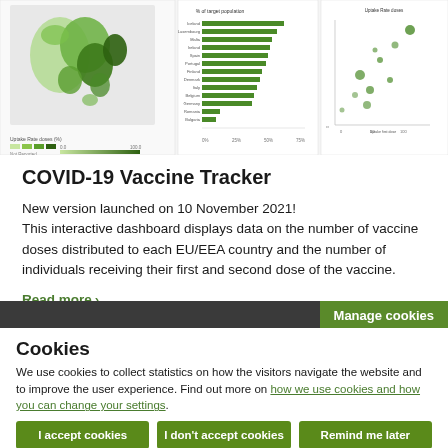[Figure (map): COVID-19 Vaccine Tracker dashboard preview showing a Europe map with green shading, a horizontal bar chart of countries, and a scatter plot]
COVID-19 Vaccine Tracker
New version launched on 10 November 2021! This interactive dashboard displays data on the number of vaccine doses distributed to each EU/EEA country and the number of individuals receiving their first and second dose of the vaccine.
Read more
Manage cookies
Cookies
We use cookies to collect statistics on how the visitors navigate the website and to improve the user experience. Find out more on how we use cookies and how you can change your settings.
I accept cookies
I don't accept cookies
Remind me later